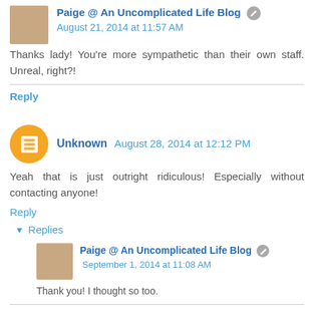Paige @ An Uncomplicated Life Blog — August 21, 2014 at 11:57 AM
Thanks lady! You're more sympathetic than their own staff. Unreal, right?!
Reply
Unknown  August 28, 2014 at 12:12 PM
Yeah that is just outright ridiculous! Especially without contacting anyone!
Reply
▾ Replies
Paige @ An Uncomplicated Life Blog — September 1, 2014 at 11:08 AM
Thank you! I thought so too.
Reply